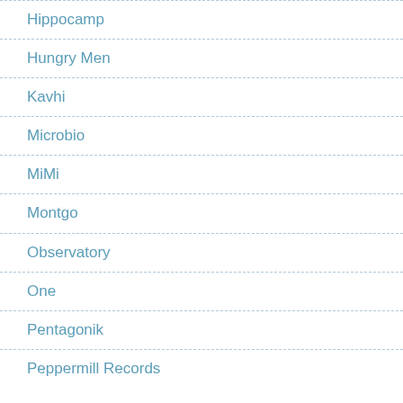Hippocamp
Hungry Men
Kavhi
Microbio
MiMi
Montgo
Observatory
One
Pentagonik
Peppermill Records